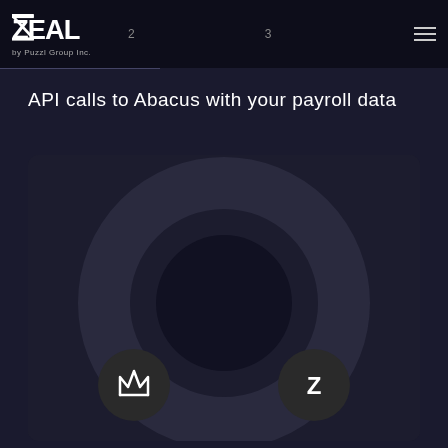ZEAL by Puzzl Group Inc. | 2 | 3
API calls to Abacus with your payroll data
[Figure (infographic): Dark circular diagram showing two nodes connected by a large ring — a crown icon node on the lower left and a Z (Zeal) icon node on the lower right, set against a dark background panel]